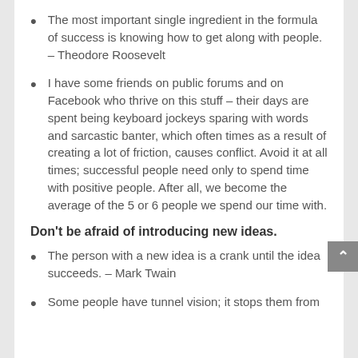The most important single ingredient in the formula of success is knowing how to get along with people. – Theodore Roosevelt
I have some friends on public forums and on Facebook who thrive on this stuff – their days are spent being keyboard jockeys sparing with words and sarcastic banter, which often times as a result of creating a lot of friction, causes conflict. Avoid it at all times; successful people need only to spend time with positive people. After all, we become the average of the 5 or 6 people we spend our time with.
Don't be afraid of introducing new ideas.
The person with a new idea is a crank until the idea succeeds. – Mark Twain
Some people have tunnel vision; it stops them from